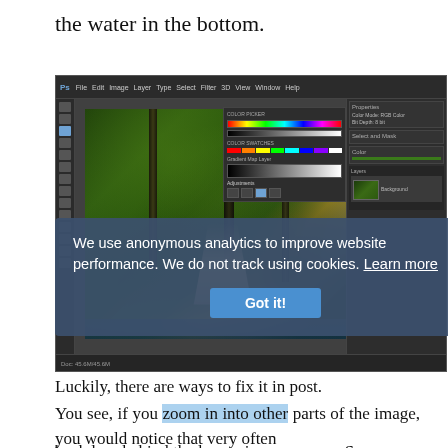the water in the bottom.
[Figure (screenshot): Photoshop application window showing a forest/woodland path image with green foliage, tree trunks, and a dirt path. The Photoshop interface includes toolbars, panels, color picker, and layers panel.]
We use anonymous analytics to improve website performance. We do not track using cookies. Learn more
to fix it in post.
You see, if you zoom in into other parts of the image, you would notice that very often backdrop behind the leaves is very messy. So